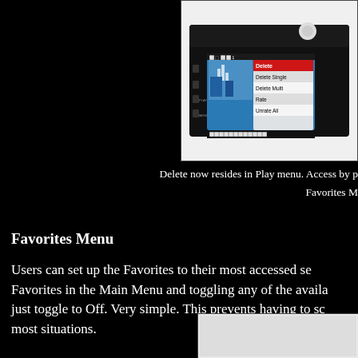[Figure (photo): Leica camera body viewed from the back, showing the LCD screen with a Play/Delete menu open. Screen shows options: Delete Single, Delete Multi, Rate, Unrate All. Camera is black with control buttons on the left side of the screen.]
Delete now resides in Play menu. Access by p... Favorites M...
Favorites Menu
Users can set up the Favorites to their most accessed se... Favorites in the Main Menu and toggling any of the availa... just toggle to Off. Very simple. This prevents having to sc... most situations.
[Figure (photo): Partial view of a second camera or menu screenshot at the bottom right of the page.]